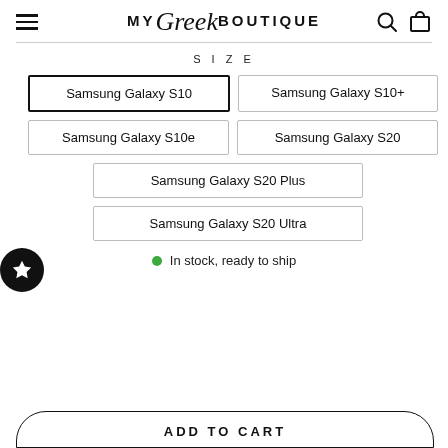MY Greek BOUTIQUE
SIZE
Samsung Galaxy S10 (selected)
Samsung Galaxy S10+
Samsung Galaxy S10e
Samsung Galaxy S20
Samsung Galaxy S20 Plus
Samsung Galaxy S20 Ultra
In stock, ready to ship
ADD TO CART